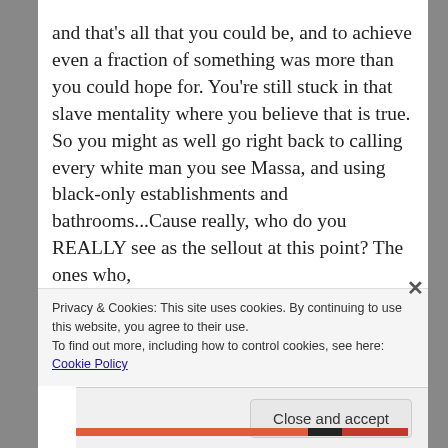and that’s all that you could be, and to achieve even a fraction of something was more than you could hope for. You’re still stuck in that slave mentality where you believe that is true. So you might as well go right back to calling every white man you see Massa, and using black-only establishments and bathrooms…Cause really, who do you REALLY see as the sellout at this point? The ones who,
Privacy & Cookies: This site uses cookies. By continuing to use this website, you agree to their use.
To find out more, including how to control cookies, see here: Cookie Policy